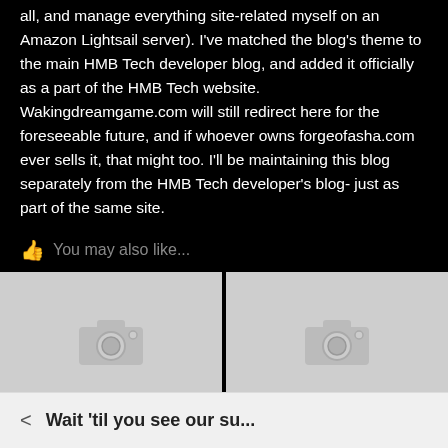all, and manage everything site-related myself on an Amazon Lightsail server). I've matched the blog's theme to the main HMB Tech developer blog, and added it officially as a part of the HMB Tech website. Wakingdreamgame.com will still redirect here for the foreseeable future, and if whoever owns forgeofasha.com ever sells it, that might too. I'll be maintaining this blog separately from the HMB Tech developer's blog- just as part of the same site.
You may also like...
[Figure (photo): Placeholder image with camera icon on grey background (left)]
[Figure (photo): Placeholder image with camera icon on grey background (right)]
< Wait 'til you see our su...